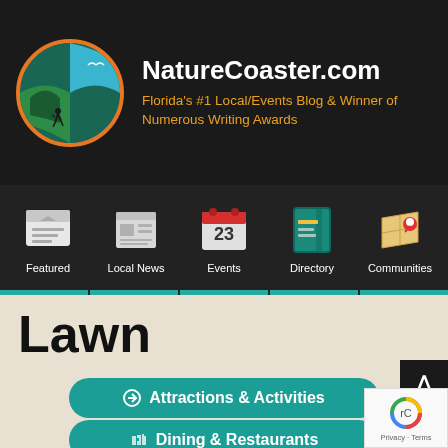[Figure (logo): NatureCoaster.com logo: circular badge with orange border, nature scene inside with yin-yang style green/teal design, hiker silhouette and bird]
NatureCoaster.com
Florida's #1 Local/Events Blog & Winner of Numerous Writing Awards
[Figure (infographic): Navigation menu with 5 icons: Featured (envelope/newsletter icon), Local News (newspaper icon), Events (calendar showing 23), Directory (address book icon), Communities (map pin icon)]
Lawn
Attractions & Activities
Dining & Restaurants